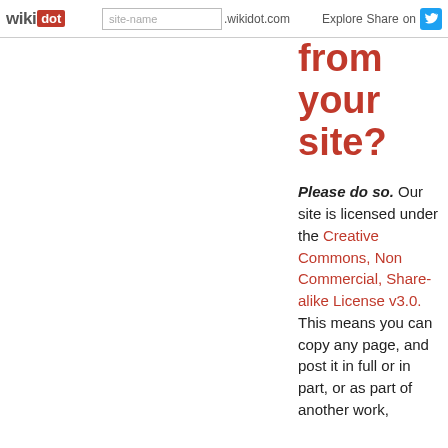wikidot | site-name .wikidot.com | Explore | Share on
from your site?
Please do so. Our site is licensed under the Creative Commons, Non Commercial, Share-alike License v3.0. This means you can copy any page, and post it in full or in part, or as part of another work,